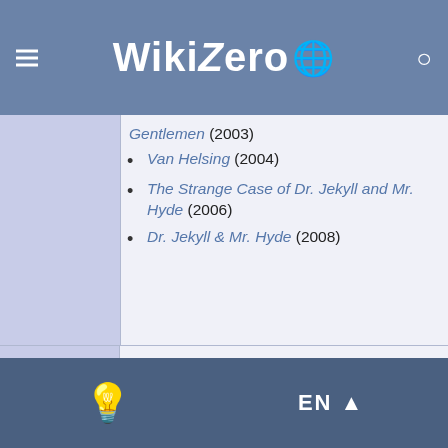WikiZero
| Category | Works |
| --- | --- |
|  | Gentlemen (2003)
Van Helsing (2004)
The Strange Case of Dr. Jekyll and Mr. Hyde (2006)
Dr. Jekyll & Mr. Hyde (2008) |
| Theatre | Dr. Jekyll and Mr. Hyde (1887)
Dr. Jekyll and Mr. Hyde (1888)
Dr. Jekyll and Mr. Hyde, Or a Mis-Spent Life (1897)
Jekyll & Hyde (1990) |
EN ▲